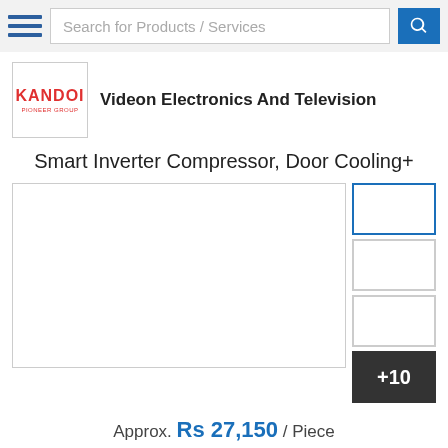Search for Products / Services
Videon Electronics And Television
Smart Inverter Compressor, Door Cooling+
[Figure (photo): Main product image area (blank/white) with thumbnail column on the right showing 3 blank thumbnails and a +10 more button]
Approx. Rs 27,150 / Piece
Minimum Order Quantity: 1 Piece